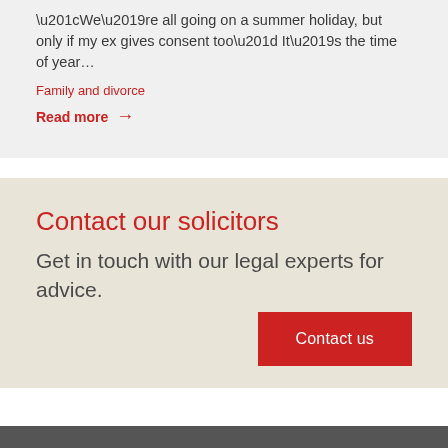“We’re all going on a summer holiday, but only if my ex gives consent too” It’s the time of year…
Family and divorce
Read more →
Contact our solicitors
Get in touch with our legal experts for advice.
Contact us